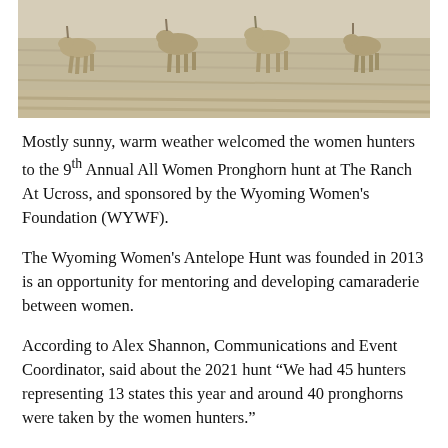[Figure (photo): A herd of pronghorn antelope running through dry, light-colored grass or sagebrush landscape.]
Mostly sunny, warm weather welcomed the women hunters to the 9th Annual All Women Pronghorn hunt at The Ranch At Ucross, and sponsored by the Wyoming Women's Foundation (WYWF).
The Wyoming Women's Antelope Hunt was founded in 2013 is an opportunity for mentoring and developing camaraderie between women.
According to Alex Shannon, Communications and Event Coordinator, said about the 2021 hunt “We had 45 hunters representing 13 states this year and around 40 pronghorns were taken by the women hunters.”
Teaching women to hunt can help them feed their families nutritious food and fulfills WYWF’s mission of investing in the economic self-sufficiency of women. The Wyoming Women’s